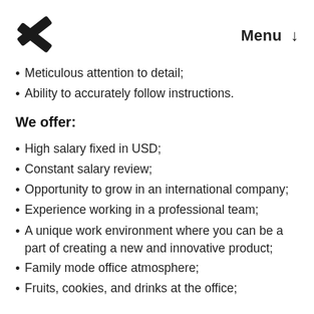Menu ↓
Meticulous attention to detail;
Ability to accurately follow instructions.
We offer:
High salary fixed in USD;
Constant salary review;
Opportunity to grow in an international company;
Experience working in a professional team;
A unique work environment where you can be a part of creating a new and innovative product;
Family mode office atmosphere;
Fruits, cookies, and drinks at the office;